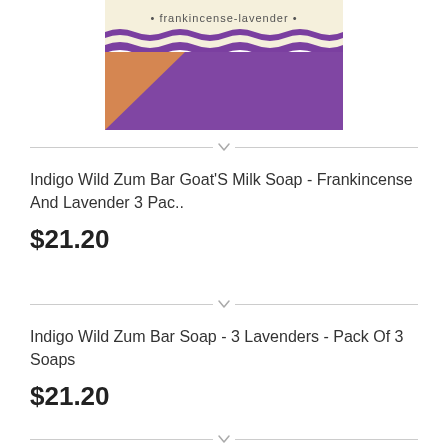[Figure (photo): Product image of Indigo Wild Zum Bar Goat's Milk Soap - Frankincense and Lavender, showing a bar of soap with orange and purple colors and wavy purple lines, with label text 'frankincense-lavender']
Indigo Wild Zum Bar Goat'S Milk Soap - Frankincense And Lavender 3 Pac..
$21.20
Indigo Wild Zum Bar Soap - 3 Lavenders - Pack Of 3 Soaps
$21.20
Indigo Wild Zum Bar Goat'S Milk